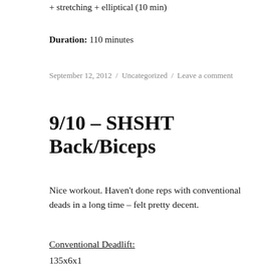+ stretching + elliptical (10 min)
Duration: 110 minutes
September 12, 2012 / Uncategorized / Leave a comment
9/10 – SHSHT Back/Biceps
Nice workout. Haven't done reps with conventional deads in a long time – felt pretty decent.
Conventional Deadlift:
135x6x1